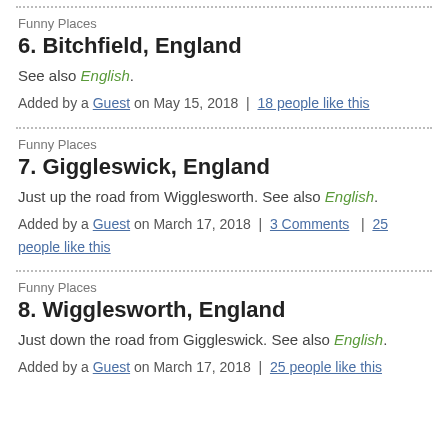Funny Places
6. Bitchfield, England
See also English.
Added by a Guest on May 15, 2018 | 18 people like this
Funny Places
7. Giggleswick, England
Just up the road from Wigglesworth. See also English.
Added by a Guest on March 17, 2018 | 3 Comments | 25 people like this
Funny Places
8. Wigglesworth, England
Just down the road from Giggleswick. See also English.
Added by a Guest on March 17, 2018 | 25 people like this